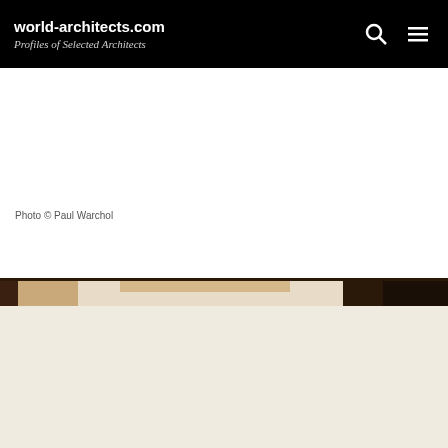world-architects.com
Profiles of Selected Architects
Photo © Paul Warchol
[Figure (photo): Architectural interior photo strip showing a room with warm wood tones, beige walls, and dark wood accents at top and sides — partially cropped horizontal band]